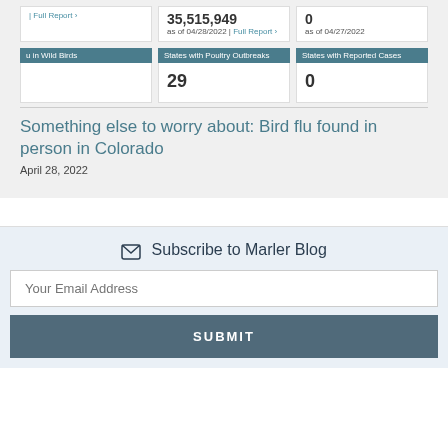35,515,949 as of 04/28/2022 | Full Report >
0 as of 04/27/2022
u in Wild Birds
States with Poultry Outbreaks
States with Reported Cases
29
0
Something else to worry about: Bird flu found in person in Colorado
April 28, 2022
Subscribe to Marler Blog
Your Email Address
SUBMIT